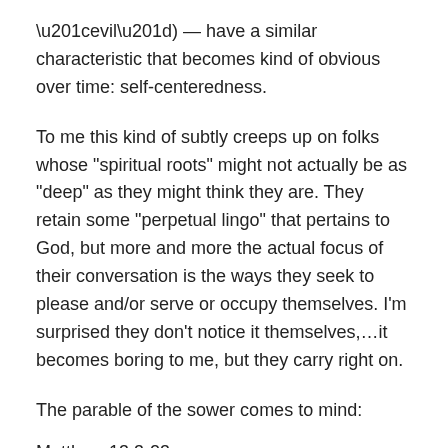“evil”) — have a similar characteristic that becomes kind of obvious over time: self-centeredness.
To me this kind of subtly creeps up on folks whose “spiritual roots” might not actually be as “deep” as they might think they are. They retain some “perpetual lingo” that pertains to God, but more and more the actual focus of their conversation is the ways they seek to please and/or serve or occupy themselves. I’m surprised they don’t notice it themselves,…it becomes boring to me, but they carry right on.
The parable of the sower comes to mind:
Matthew 13:3-23